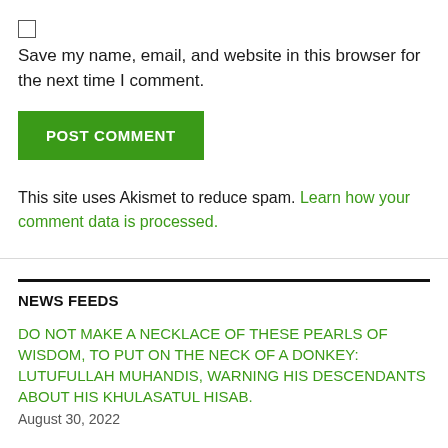Save my name, email, and website in this browser for the next time I comment.
POST COMMENT
This site uses Akismet to reduce spam. Learn how your comment data is processed.
NEWS FEEDS
DO NOT MAKE A NECKLACE OF THESE PEARLS OF WISDOM, TO PUT ON THE NECK OF A DONKEY: LUTUFULLAH MUHANDIS, WARNING HIS DESCENDANTS ABOUT HIS KHULASATUL HISAB.
August 30, 2022